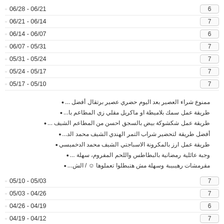06/28 - 06/21 • 6
06/21 - 06/14 • 7
06/14 - 06/07 • 6
06/07 - 05/31 • 7
05/31 - 05/24 • 7
05/24 - 05/17 • 7
05/17 - 05/10 • 7
ممنوع شراء العصير بعد اليوم حضري عصير برتقال أفضل ...
طريقة عمل سمك بلاميطة او ماكريل مقلي زي المطاعم با...
طريقة عمل شكشوكة بيض بالسجق احسن من المطاعم الشيف ...
أفضل طريقة لتحضير شراب التمر الهندي الشيف محمد الد...
طريقة عمل ارز بالمكرونة الاسباجتي الشيف محمد الدخميسي
وجبة عائلية رمضانية بالبطاطس واللحم المفروم، سهلة ...
مقرمشات رهيبيبة وسهلة مش هتبطلوا تعملوها ☺ / الش...
05/10 - 05/03 • 7
05/03 - 04/26 • 7
04/26 - 04/19 • 6
04/19 - 04/12 • 7